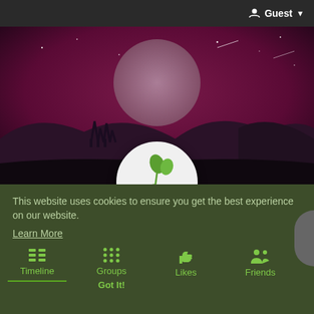Guest ▼
[Figure (illustration): Hero banner: dark pink/magenta night sky with stars, large pale moon in center, silhouette of mountains and trees at bottom. Circular Plant Pals logo overlaid at bottom center — white circle with green illustrated plant logo and text PLANT PALS.]
Plant Pals
This website uses cookies to ensure you get the best experience on our website.
Learn More
Timeline
Groups
Likes
Friends
Got It!